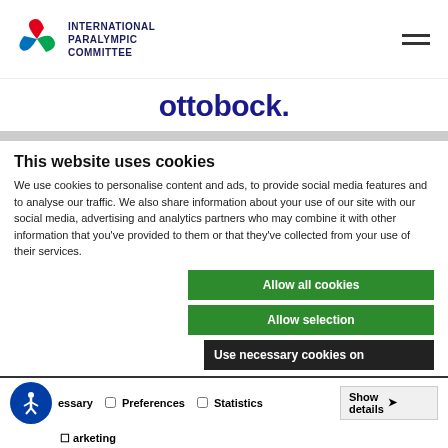[Figure (logo): International Paralympic Committee logo with colored swooshes and text]
[Figure (logo): ottobock. logo in dark blue]
This website uses cookies
We use cookies to personalise content and ads, to provide social media features and to analyse our traffic. We also share information about your use of our site with our social media, advertising and analytics partners who may combine it with other information that you've provided to them or that they've collected from your use of their services.
Allow all cookies
Allow selection
Use necessary cookies on
essary  Preferences  Statistics  Marketing  Show details
[Figure (logo): SAMSUNG logo in blue]